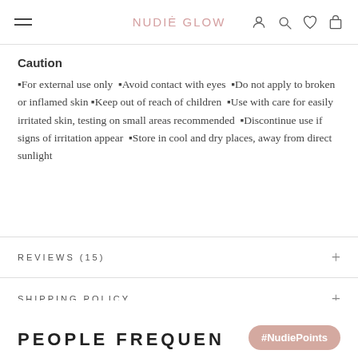NUDIE GLOW
Caution
▪For external use only  ▪Avoid contact with eyes  ▪Do not apply to broken or inflamed skin ▪Keep out of reach of children  ▪Use with care for easily irritated skin, testing on small areas recommended  ▪Discontinue use if signs of irritation appear  ▪Store in cool and dry places, away from direct sunlight
REVIEWS (15)
SHIPPING POLICY
PEOPLE FREQUEN
#NudiePoints